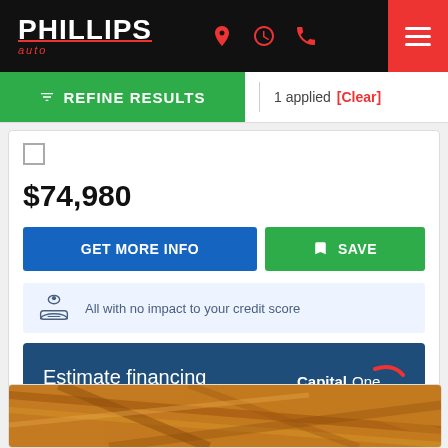[Figure (logo): Phillips Auto dealership logo - white text on black background with red accent]
REFINE RESULTS | 1 applied [Clear]
$74,980
GET MORE INFO
SAVE
All with no impact to your credit score
Estimate financing
[Figure (logo): Capital One logo in white on dark blue background]